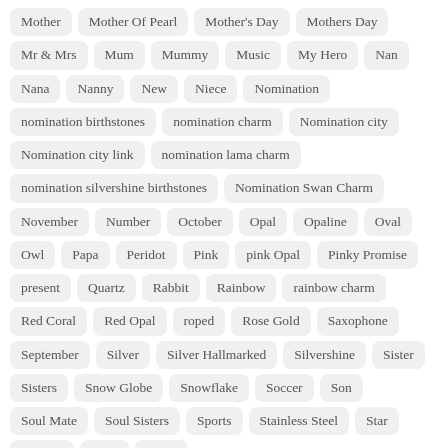Mother
Mother Of Pearl
Mother's Day
Mothers Day
Mr & Mrs
Mum
Mummy
Music
My Hero
Nan
Nana
Nanny
New
Niece
Nomination
nomination birthstones
nomination charm
Nomination city
Nomination city link
nomination lama charm
nomination silvershine birthstones
Nomination Swan Charm
November
Number
October
Opal
Opaline
Oval
Owl
Papa
Peridot
Pink
pink Opal
Pinky Promise
present
Quartz
Rabbit
Rainbow
rainbow charm
Red Coral
Red Opal
roped
Rose Gold
Saxophone
September
Silver
Silver Hallmarked
Silvershine
Sister
Sisters
Snow Globe
Snowflake
Soccer
Son
Soul Mate
Soul Sisters
Sports
Stainless Steel
Star
Starfish
Steel
Stone